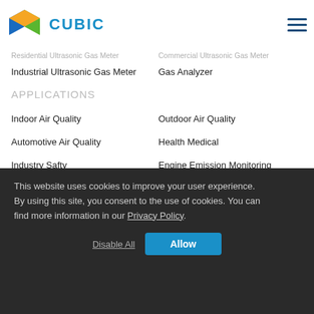Cubic
Residential Ultrasonic Gas Meter
Commercial Ultrasonic Gas Meter
Industrial Ultrasonic Gas Meter
Gas Analyzer
APPLICATIONS
Indoor Air Quality
Outdoor Air Quality
Automotive Air Quality
Health Medical
Industry Safty
Engine Emission Monitoring
Smart Metering
Contact Us
Add: Fenghuang No.3 Road, Fenghuang Industrial Park, Eastlake Hi-tech Development Zone, Wuhan, 430205, China
This website uses cookies to improve your user experience. By using this site, you consent to the use of cookies. You can find more information in our Privacy Policy.
Disable All
Allow